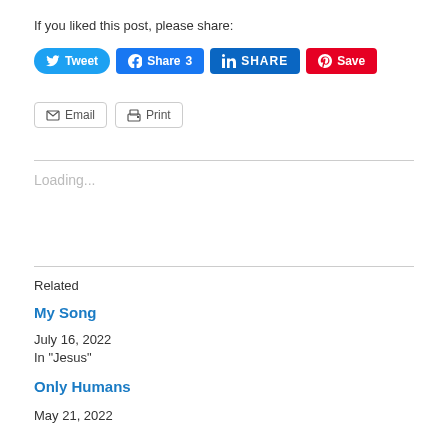If you liked this post, please share:
[Figure (other): Social share buttons: Tweet (Twitter, blue), Share 3 (Facebook, blue), SHARE (LinkedIn, blue), Save (Pinterest, red), Email (outline), Print (outline)]
Loading...
Related
My Song
July 16, 2022
In "Jesus"
Only Humans
May 21, 2022